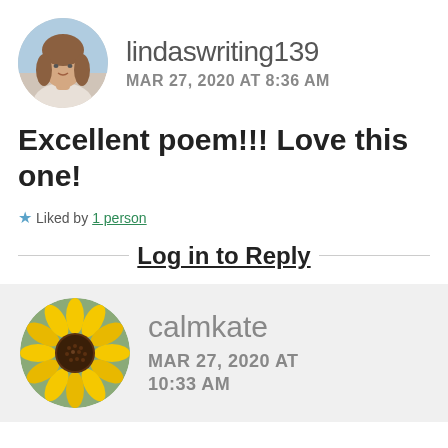[Figure (photo): Circular avatar photo of a woman with shoulder-length brown hair]
lindaswriting139
MAR 27, 2020 AT 8:36 AM
Excellent poem!!! Love this one!
Liked by 1 person
Log in to Reply
[Figure (photo): Circular avatar photo of a yellow sunflower]
calmkate
MAR 27, 2020 AT 10:33 AM